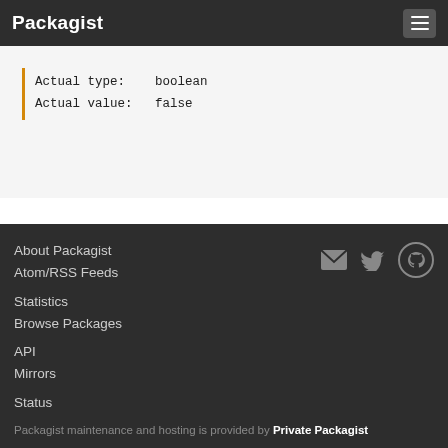Packagist
Actual type:    boolean
Actual value:   false
About Packagist
Atom/RSS Feeds
Statistics
Browse Packages
API
Mirrors
Status
Packagist maintenance and hosting is provided by Private Packagist